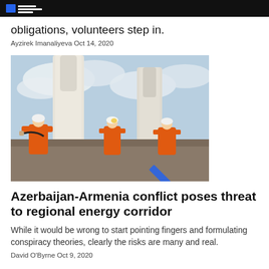[The Diplomat logo]
obligations, volunteers step in.
Ayzirek Imanaliyeva Oct 14, 2020
[Figure (photo): Workers in orange safety gear and white hard hats working on large white industrial pipeline structures under a cloudy sky.]
Azerbaijan-Armenia conflict poses threat to regional energy corridor
While it would be wrong to start pointing fingers and formulating conspiracy theories, clearly the risks are many and real.
David O'Byrne Oct 9, 2020